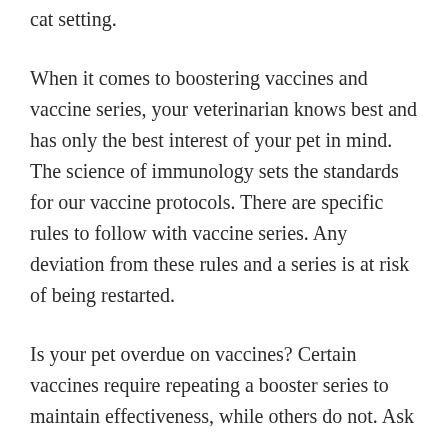cat setting.
When it comes to boostering vaccines and vaccine series, your veterinarian knows best and has only the best interest of your pet in mind. The science of immunology sets the standards for our vaccine protocols. There are specific rules to follow with vaccine series. Any deviation from these rules and a series is at risk of being restarted.
Is your pet overdue on vaccines? Certain vaccines require repeating a booster series to maintain effectiveness, while others do not. Ask